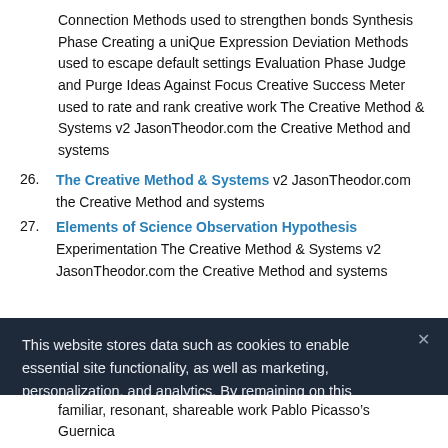Connection Methods used to strengthen bonds Synthesis Phase Creating a uniQue Expression Deviation Methods used to escape default settings Evaluation Phase Judge and Purge Ideas Against Focus Creative Success Meter used to rate and rank creative work The Creative Method & Systems v2 JasonTheodor.com the Creative Method and systems
26. The Creative Method & Systems v2 JasonTheodor.com the Creative Method and systems
27. Elements of Science Observation Hypothesis Experimentation The Creative Method & Systems v2 JasonTheodor.com the Creative Method and systems
This website stores data such as cookies to enable essential site functionality, as well as marketing, personalization, and analytics. By remaining on this website you indicate your consent.
Cookie Policy
familiar, resonant, shareable work Pablo Picasso's Guernica